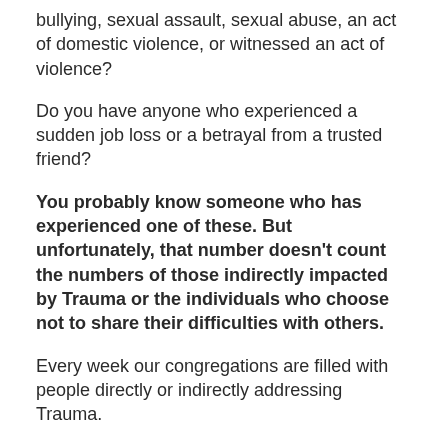bullying, sexual assault, sexual abuse, an act of domestic violence, or witnessed an act of violence?
Do you have anyone who experienced a sudden job loss or a betrayal from a trusted friend?
You probably know someone who has experienced one of these. But unfortunately, that number doesn't count the numbers of those indirectly impacted by Trauma or the individuals who choose not to share their difficulties with others.
Every week our congregations are filled with people directly or indirectly addressing Trauma.
Some of those impacted are visiting for the first